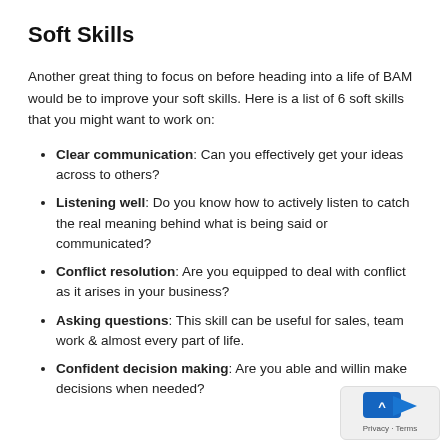Soft Skills
Another great thing to focus on before heading into a life of BAM would be to improve your soft skills. Here is a list of 6 soft skills that you might want to work on:
Clear communication: Can you effectively get your ideas across to others?
Listening well: Do you know how to actively listen to catch the real meaning behind what is being said or communicated?
Conflict resolution: Are you equipped to deal with conflict as it arises in your business?
Asking questions: This skill can be useful for sales, team work & almost every part of life.
Confident decision making: Are you able and willing to make decisions when needed?